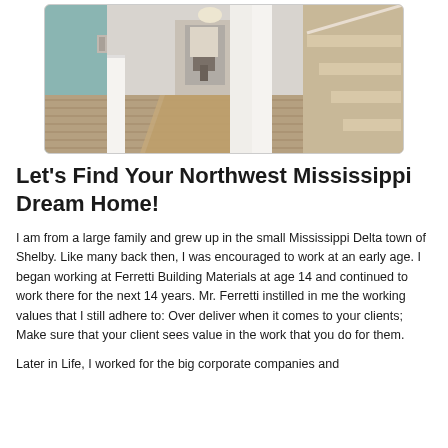[Figure (photo): Interior home photo showing a hallway with hardwood floors, a runner rug, white wainscoting, staircase on the right, and view into a dining area in the background]
Let's Find Your Northwest Mississippi Dream Home!
I am from a large family and grew up in the small Mississippi Delta town of Shelby. Like many back then, I was encouraged to work at an early age. I began working at Ferretti Building Materials at age 14 and continued to work there for the next 14 years. Mr. Ferretti instilled in me the working values that I still adhere to: Over deliver when it comes to your clients; Make sure that your client sees value in the work that you do for them.
Later in Life, I worked for the big corporate companies and